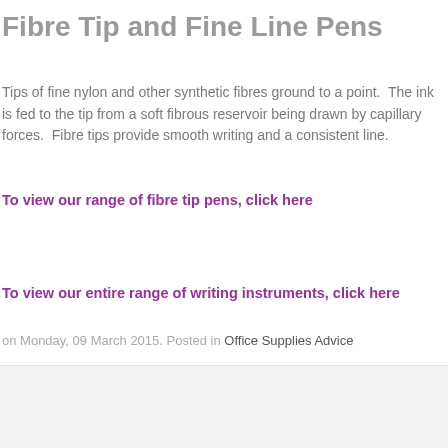Fibre Tip and Fine Line Pens
Tips of fine nylon and other synthetic fibres ground to a point.  The ink is fed to the tip from a soft fibrous reservoir being drawn by capillary forces.  Fibre tips provide smooth writing and a consistent line.
To view our range of fibre tip pens, click here
To view our entire range of writing instruments, click here
on Monday, 09 March 2015. Posted in Office Supplies Advice